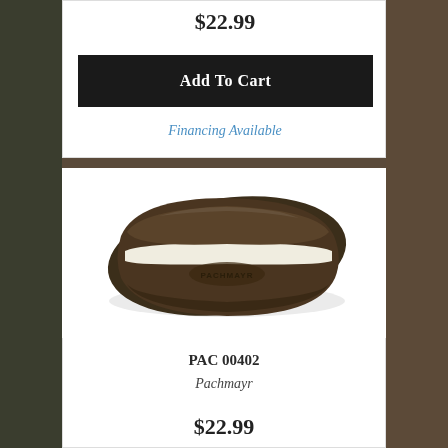$22.99
Add To Cart
Financing Available
[Figure (photo): A dark brown oval-shaped rubber recoil pad with a white stripe, showing the Pachmayr brand logo embossed on its surface.]
PAC 00402
Pachmayr
$22.99